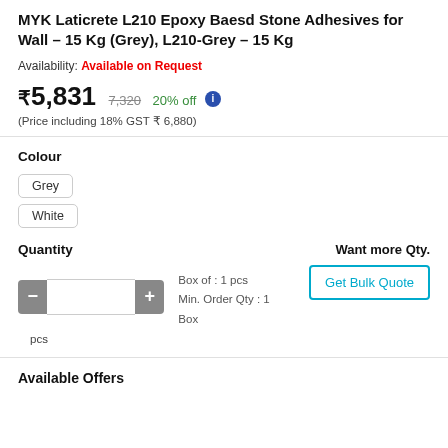MYK Laticrete L210 Epoxy Baesd Stone Adhesives for Wall - 15 Kg (Grey), L210-Grey - 15 Kg
Availability: Available on Request
₹5,831  7,320  20% off
(Price including 18% GST ₹ 6,880)
Colour
Grey
White
Quantity
Box of : 1 pcs
Min. Order Qty : 1 Box
pcs
Want more Qty.
Get Bulk Quote
Available Offers